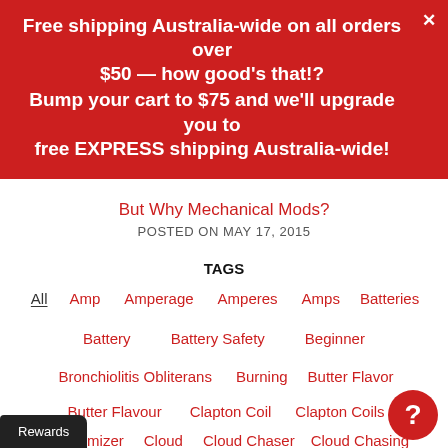Free shipping Australia-wide on all orders over $50 — how good's that!? Bump your cart to $75 and we'll upgrade you to free EXPRESS shipping Australia-wide!
But Why Mechanical Mods?
POSTED ON MAY 17, 2015
TAGS
All
Amp
Amperage
Amperes
Amps
Batteries
Battery
Battery Safety
Beginner
Bronchiolitis Obliterans
Burning
Butter Flavor
Butter Flavour
Clapton Coil
Clapton Coils
Clearomizer
Cloud
Cloud Chaser
Cloud Chasing